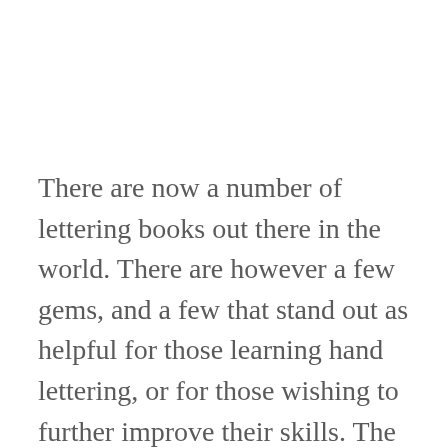There are now a number of lettering books out there in the world. There are however a few gems, and a few that stand out as helpful for those learning hand lettering, or for those wishing to further improve their skills. The aim of Lettering Tutorial Book Club is to help introduce you to new lettering books, from different categories, that can aid you on your lettering journey. Also to highlight significant features of chosen books, and to